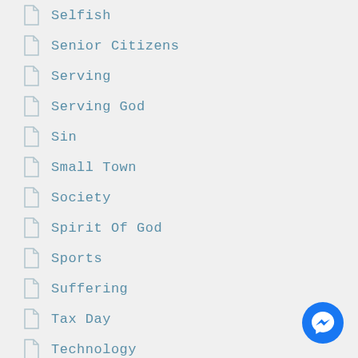Selfish
Senior Citizens
Serving
Serving God
Sin
Small Town
Society
Spirit Of God
Sports
Suffering
Tax Day
Technology
Temple
Thanksgiving
[Figure (logo): Facebook Messenger button icon, blue circle with white lightning bolt chat symbol]